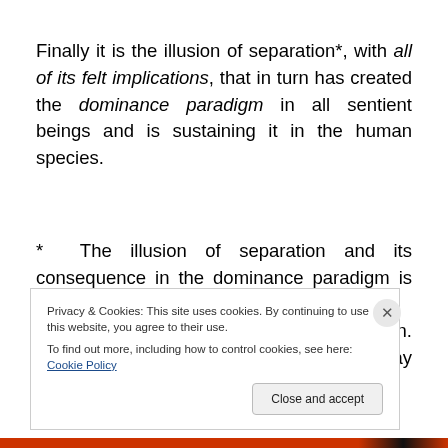Finally it is the illusion of separation*, with all of its felt implications, that in turn has created the dominance paradigm in all sentient beings and is sustaining it in the human species.
* The illusion of separation and its consequence in the dominance paradigm is an inevitable, perhaps even necessary stage in pre-human evolution. Under the circumstances no other way forward could
Privacy & Cookies: This site uses cookies. By continuing to use this website, you agree to their use. To find out more, including how to control cookies, see here: Cookie Policy